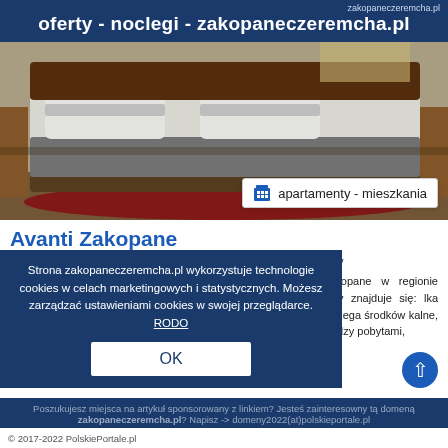zakopaneczeremcha.pl
oferty - noclegi - zakopaneczeremcha.pl
[Figure (photo): Interior photo of a hotel room showing beds with grey and white bedding, wooden furniture, and a red carpet. Badge overlay reads: apartamenty - mieszkania]
Avanti Zakopane
dostępne terminy   dojazd własny
Obiekt Avanti Zakopane położony jest w miejscowości Zakopane w regionie małopolskie i zapewnia bezpłatny prywatny parking. W okolicy znajduje się: lka Krokiew.W naszej ofercie ogólnodostępnych, ogród, gry nel przestrzega środków kalne, pokoje dla alergików, a miejscu, narciarstwo, meble nfekowane między pobytami,
Strona zakopaneczeremcha.pl wykorzystuje technologie cookies w celach marketingowych i statystycznych. Możesz zarządzać ustawieniami cookies w swojej przeglądarce. RODO
OK
Poszukujesz miejsca na artykuł sponsorowany z linkiem? Jesteś zainteresowny tą domeną zakopaneczeremcha.pl? Napisz -> domeny2022(at)polskieportale.pl
© 2017-2022 PolskiePortale.pl